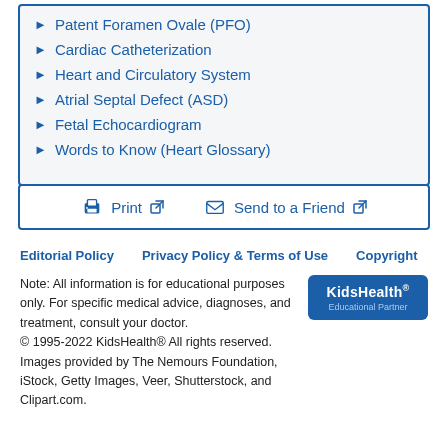Patent Foramen Ovale (PFO)
Cardiac Catheterization
Heart and Circulatory System
Atrial Septal Defect (ASD)
Fetal Echocardiogram
Words to Know (Heart Glossary)
Print  Send to a Friend
Editorial Policy  Privacy Policy & Terms of Use  Copyright
Note: All information is for educational purposes only. For specific medical advice, diagnoses, and treatment, consult your doctor.
© 1995-2022 KidsHealth® All rights reserved.
Images provided by The Nemours Foundation, iStock, Getty Images, Veer, Shutterstock, and Clipart.com.